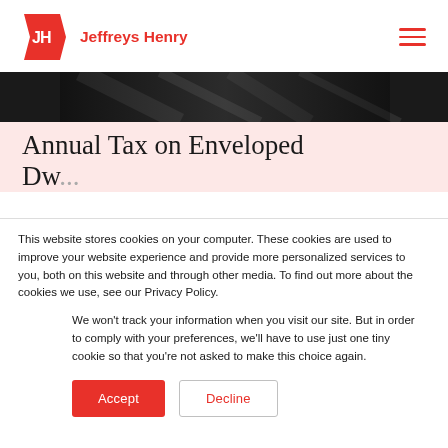[Figure (logo): Jeffreys Henry logo — red angular JH shield icon with 'Jeffreys Henry' text in red to the right]
[Figure (photo): Dark monochrome hero image strip — abstract architectural/structural background]
Annual Tax on Enveloped Dwellings (ATED)
This website stores cookies on your computer. These cookies are used to improve your website experience and provide more personalized services to you, both on this website and through other media. To find out more about the cookies we use, see our Privacy Policy.
We won't track your information when you visit our site. But in order to comply with your preferences, we'll have to use just one tiny cookie so that you're not asked to make this choice again.